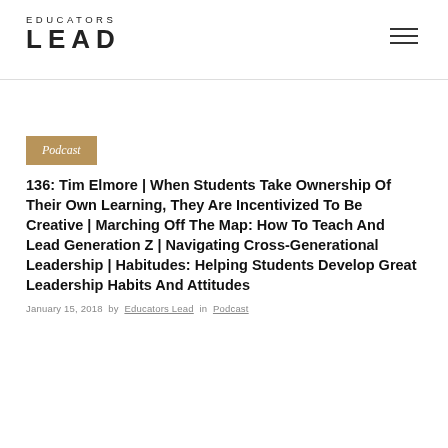EDUCATORS LEAD
Podcast
136: Tim Elmore | When Students Take Ownership Of Their Own Learning, They Are Incentivized To Be Creative | Marching Off The Map: How To Teach And Lead Generation Z | Navigating Cross-Generational Leadership | Habitudes: Helping Students Develop Great Leadership Habits And Attitudes
January 15, 2018 by Educators Lead in Podcast